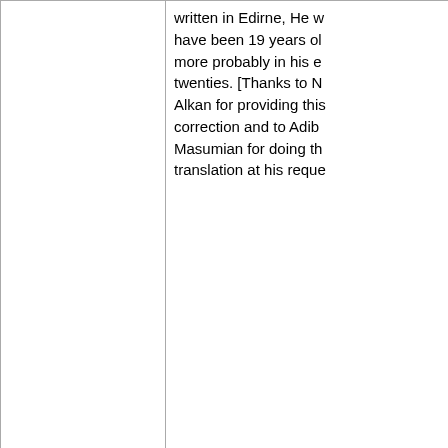| Year | Event |
| --- | --- |
|  | written in Edirne, He would have been 19 years old, or more probably in his early twenties. [Thanks to N. Alkan for providing this correction and to Adib Masumian for doing the translation at his reque... |
| 1865. c. 1865 | Bahá'u'lláh revealed the Tablet of Ahmad (Lawh-i-Ahmad) for Ahmad, a believer from Yazd. [RB2:107]
• The Tablet may have been revealed as early as 18...
• See RB2:107–66 for the story of Ahmad. He had walked from Baghdad to Constantinople, a distance of 1,600km on his way to... |